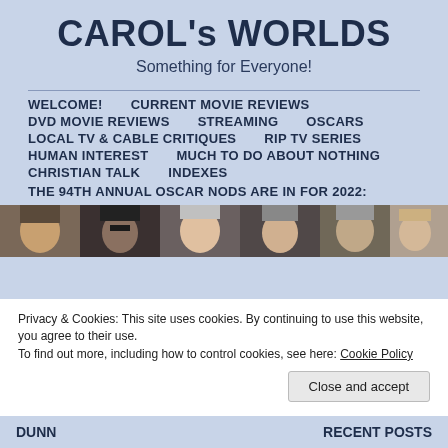CAROL's WORLDS
Something for Everyone!
WELCOME!   CURRENT MOVIE REVIEWS   DVD MOVIE REVIEWS   STREAMING   OSCARS   LOCAL TV & CABLE CRITIQUES   RIP TV SERIES   HUMAN INTEREST   MUCH TO DO ABOUT NOTHING   CHRISTIAN TALK   INDEXES   THE 94TH ANNUAL OSCAR NODS ARE IN FOR 2022:
[Figure (photo): A horizontal strip of photos showing multiple people's faces]
Privacy & Cookies: This site uses cookies. By continuing to use this website, you agree to their use.
To find out more, including how to control cookies, see here: Cookie Policy
Close and accept
DUNN
RECENT POSTS